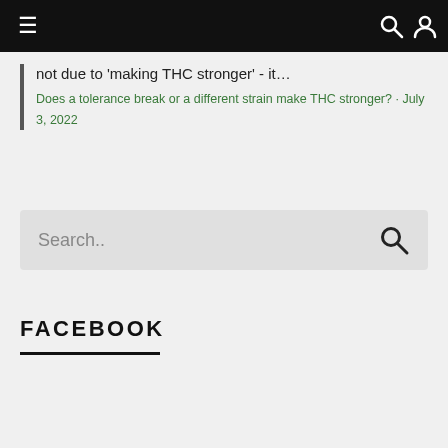≡  [search icon] [user icon]
not due to 'making THC stronger' - it…
Does a tolerance break or a different strain make THC stronger? · July 3, 2022
Search..
FACEBOOK